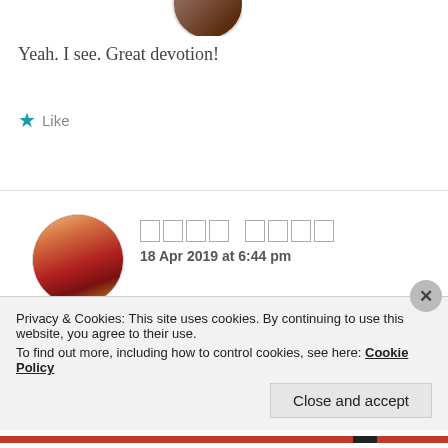[Figure (photo): Circular avatar photo of a person partially visible at the top of the page]
Yeah. I see. Great devotion!
★ Like
[Figure (photo): Circular avatar photo of a woman in traditional Indian attire (red saree/outfit with flowers)]
□□□□ □□□□ (username in non-Latin script rendered as tofu boxes)
18 Apr 2019 at 6:44 pm
thanks.. some time get romantic but i love
only God
Privacy & Cookies: This site uses cookies. By continuing to use this website, you agree to their use.
To find out more, including how to control cookies, see here: Cookie Policy
Close and accept